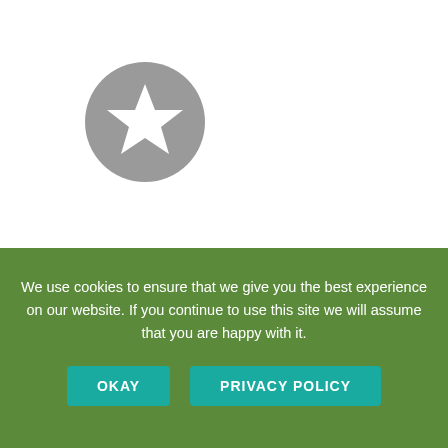[Figure (logo): Grey circular icon with white star shape inside]
Clear2Go
Clear2Go is offers travel insurance for more serious medical conditions including secondary cancers and some terminal conditions. If your pre-existing condition is in the serious category we would recommend ringing Clear2Go on 0800 999 3333 quoting PREMED rather than using their online quote system.
Clear2Go Travel Insurance
We use cookies to ensure that we give you the best experience on our website. If you continue to use this site we will assume that you are happy with it.
OKAY
PRIVACY POLICY